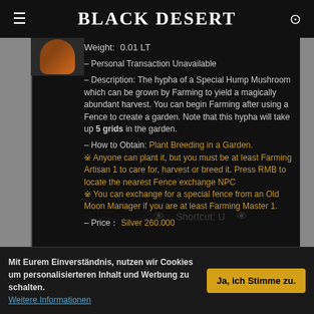Black Desert
Weight: 0.01 LT
– Personal Transaction Unavailable
– Description: The hypha of a Special Hump Mushroom which can be grown by Farming to yield a magically abundant harvest. You can begin Farming after using a Fence to create a garden. Note that this hypha will take up 5 grids in the garden.
– How to Obtain: Plant Breeding in a Garden.
※ Anyone can plant it, but you must be at least Farming Artisan 1 to care for, harvest or breed it. Press RMB to locate the nearest Fence exchange NPC
※ You can exchange for a special fence from an Old Moon Manager if you are at least Farming Master 1.
– Price： Silver 260.000
Mit Eurem Einverständnis, nutzen wir Cookies um personalisierteren Inhalt und Werbung zu schalten. Weitere Informationen